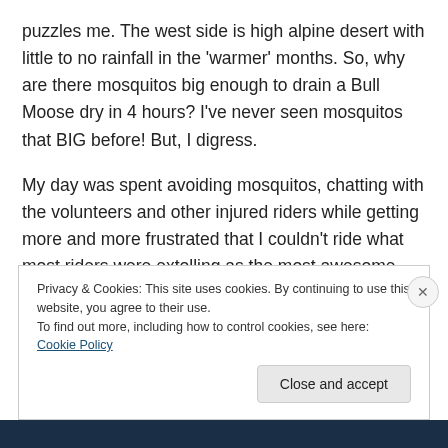puzzles me. The west side is high alpine desert with little to no rainfall in the ‘warmer’ months. So, why are there mosquitos big enough to drain a Bull Moose dry in 4 hours? I’ve never seen mosquitos that BIG before! But, I digress.
My day was spent avoiding mosquitos, chatting with the volunteers and other injured riders while getting more and more frustrated that I couldn’t ride what most riders were extolling as the most awesome part of the whole event. Sadly for those riders, and unbeknownst to me, this
Privacy & Cookies: This site uses cookies. By continuing to use this website, you agree to their use.
To find out more, including how to control cookies, see here: Cookie Policy
Close and accept